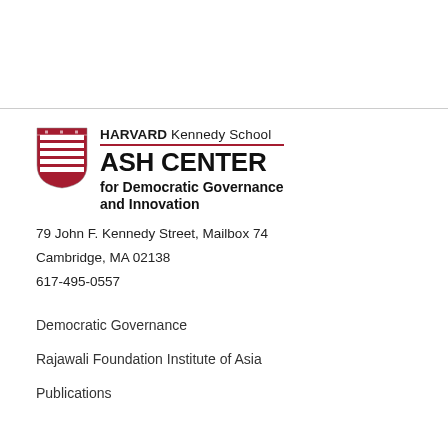[Figure (logo): Harvard Kennedy School Ash Center for Democratic Governance and Innovation shield logo with crimson and white stripes]
HARVARD Kennedy School ASH CENTER for Democratic Governance and Innovation
79 John F. Kennedy Street, Mailbox 74
Cambridge, MA 02138
617-495-0557
Democratic Governance
Rajawali Foundation Institute of Asia
Publications